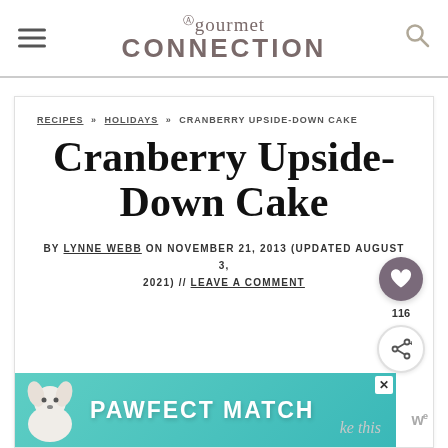My Gourmet Connection
RECIPES » HOLIDAYS » CRANBERRY UPSIDE-DOWN CAKE
Cranberry Upside-Down Cake
BY LYNNE WEBB ON NOVEMBER 21, 2013 (UPDATED AUGUST 3, 2021) // LEAVE A COMMENT
[Figure (photo): Advertisement banner: PAWFECT MATCH with dog illustration on teal background]